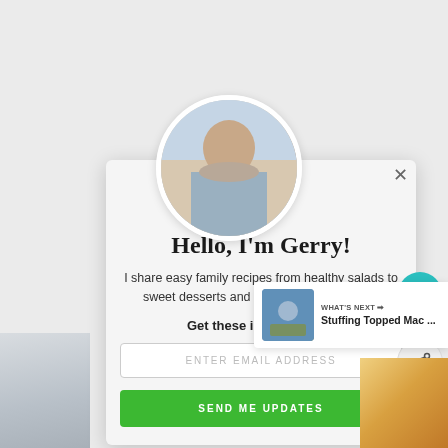[Figure (screenshot): Website popup modal with profile photo of man (Gerry) in kitchen, email subscription form, and surrounding webpage elements including heart/share widgets and 'What's Next' panel]
Hello, I'm Gerry!
I share easy family recipes from healthy salads to sweet desserts and everything in between!
Get these in your inbox.
ENTER EMAIL ADDRESS
SEND ME UPDATES
WHAT'S NEXT →
Stuffing Topped Mac ...
42